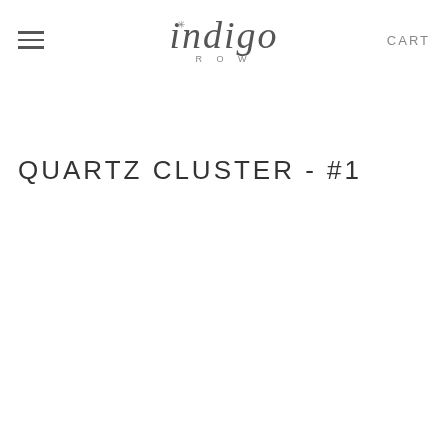≡  indigo ROW  CART
QUARTZ CLUSTER - #1